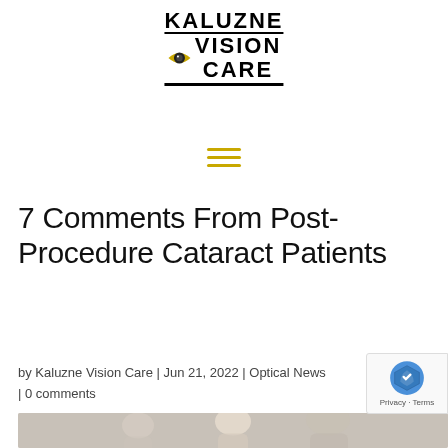[Figure (logo): Kaluzne Vision Care logo with stylized eye icon]
[Figure (other): Hamburger menu icon (three horizontal yellow lines)]
7 Comments From Post-Procedure Cataract Patients
by Kaluzne Vision Care | Jun 21, 2022 | Optical News | 0 comments
[Figure (photo): Photo of post-procedure cataract patients, showing a young woman and an elderly man]